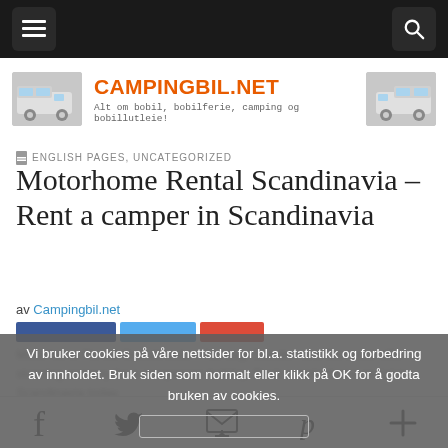Navigation bar with hamburger menu and search button
[Figure (logo): Campingbil.net website header with logo images of motorhomes on left and right, site name CAMPINGBIL.NET in orange, tagline: Alt om bobil, bobilferie, camping og bobillutleie!]
ENGLISH PAGES, UNCATEGORIZED
Motorhome Rental Scandinavia – Rent a camper in Scandinavia
av Campingbil.net
Vi bruker cookies på våre nettsider for bl.a. statistikk og forbedring av innholdet. Bruk siden som normalt eller klikk på OK for å godta bruken av cookies.
Social share bar with Facebook, Twitter, Email, Pinterest, and More icons